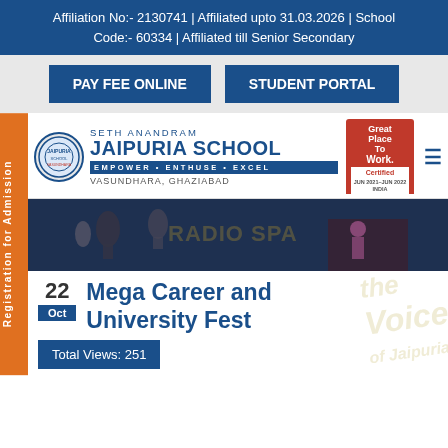Affiliation No:- 2130741 | Affiliated upto 31.03.2026 | School Code:- 60334 | Affiliated till Senior Secondary
PAY FEE ONLINE
STUDENT PORTAL
[Figure (logo): Seth Anandram Jaipuria School logo with circular emblem, school name, tagline EMPOWER ENTHUSE EXCEL, location VASUNDHARA, GHAZIABAD, and Great Place To Work Certified badge]
Registration for Admission
[Figure (photo): Dark hero banner image with microphones and performance, overlaid with Radio Spa watermark logo]
Mega Career and University Fest
22 Oct
Total Views: 251